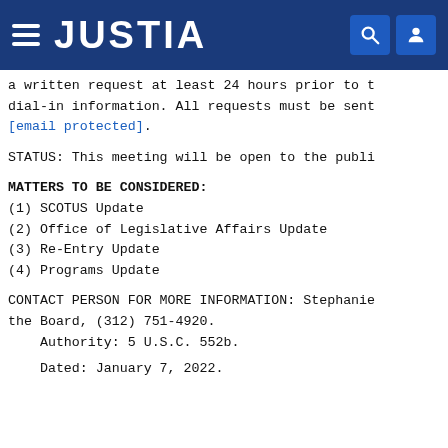JUSTIA
a written request at least 24 hours prior to t dial-in information. All requests must be sent [email protected].
STATUS: This meeting will be open to the publi
MATTERS TO BE CONSIDERED:
(1) SCOTUS Update
(2) Office of Legislative Affairs Update
(3) Re-Entry Update
(4) Programs Update
CONTACT PERSON FOR MORE INFORMATION: Stephanie the Board, (312) 751-4920.
    Authority: 5 U.S.C. 552b.
Dated: January 7, 2022.